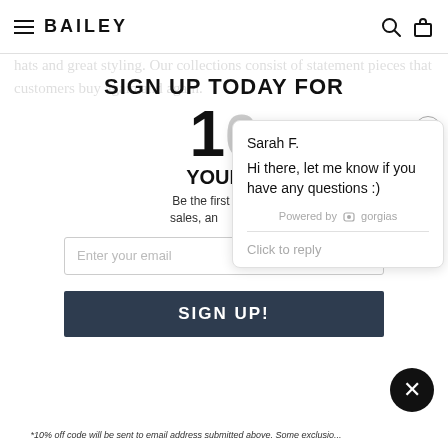BAILEY
hats and great styling. Our collections consist of statement pieces that customers buy again and again.
SIGN UP TODAY FOR
10
YOUR
Be the first to know... sales, and
Enter your email
SIGN UP!
*10% off code will be sent to email address submitted above. Some exclusion...
Sarah F.
Hi there, let me know if you have any questions :)
Powered by gorgias
Click to reply